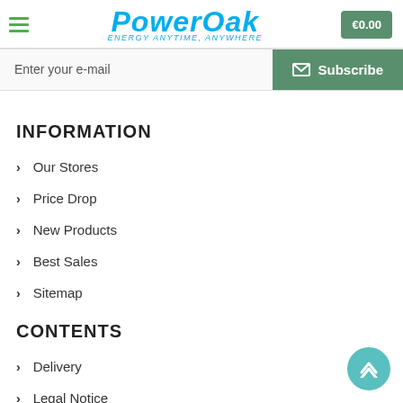PowerOak — ENERGY ANYTIME, ANYWHERE | €0.00
Enter your e-mail — Subscribe
INFORMATION
Our Stores
Price Drop
New Products
Best Sales
Sitemap
CONTENTS
Delivery
Legal Notice